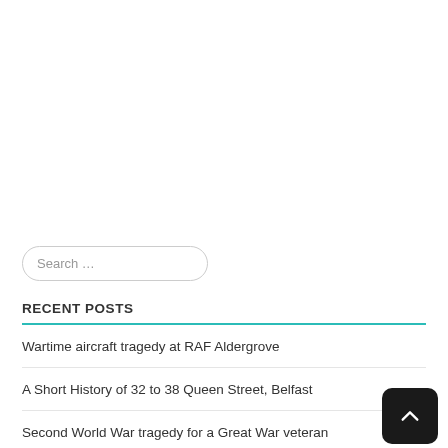Search …
RECENT POSTS
Wartime aircraft tragedy at RAF Aldergrove
A Short History of 32 to 38 Queen Street, Belfast
Second World War tragedy for a Great War veteran
Ulstermen at War: Chaplains Series